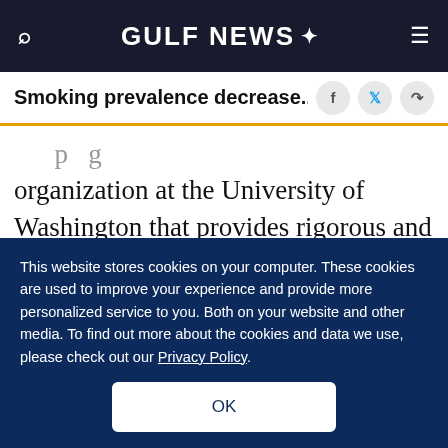GULF NEWS
Smoking prevalence decrease...
organization at the University of Washington that provides rigorous and comparable measurement of the world's most important health problems and evaluates the strategies used to address them. IHME makes this information widely available so that policymakers have the evidence they need to
This website stores cookies on your computer. These cookies are used to improve your experience and provide more personalized service to you. Both on your website and other media. To find out more about the cookies and data we use, please check out our Privacy Policy.